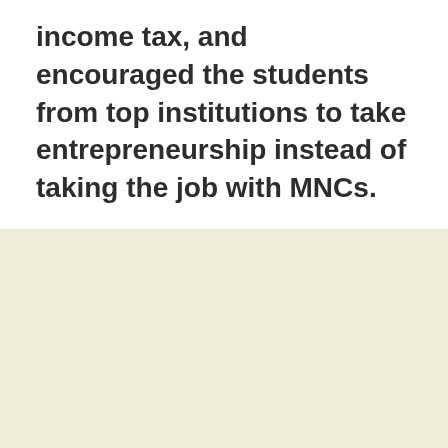income tax, and encouraged the students from top institutions to take entrepreneurship instead of taking the job with MNCs.